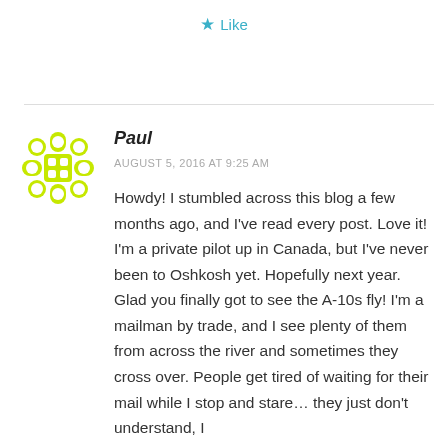★ Like
[Figure (illustration): Green snowflake/asterisk avatar icon for user Paul]
Paul
AUGUST 5, 2016 AT 9:25 AM
Howdy! I stumbled across this blog a few months ago, and I've read every post. Love it! I'm a private pilot up in Canada, but I've never been to Oshkosh yet. Hopefully next year.
Glad you finally got to see the A-10s fly! I'm a mailman by trade, and I see plenty of them from across the river and sometimes they cross over. People get tired of waiting for their mail while I stop and stare… they just don't understand, I